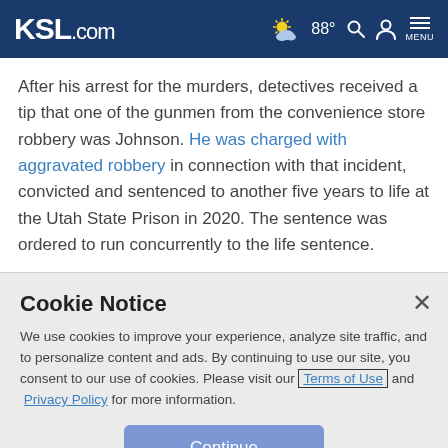KSL.com  88°  MENU
After his arrest for the murders, detectives received a tip that one of the gunmen from the convenience store robbery was Johnson. He was charged with aggravated robbery in connection with that incident, convicted and sentenced to another five years to life at the Utah State Prison in 2020. The sentence was ordered to run concurrently to the life sentence.
Cookie Notice
We use cookies to improve your experience, analyze site traffic, and to personalize content and ads. By continuing to use our site, you consent to our use of cookies. Please visit our Terms of Use and Privacy Policy for more information.
Continue